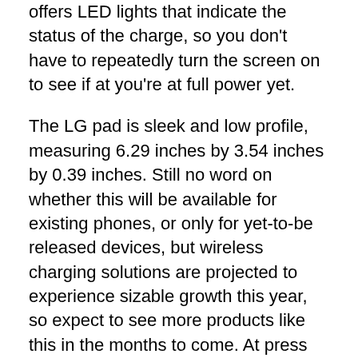offers LED lights that indicate the status of the charge, so you don't have to repeatedly turn the screen on to see if at you're at full power yet.
The LG pad is sleek and low profile, measuring 6.29 inches by 3.54 inches by 0.39 inches. Still no word on whether this will be available for existing phones, or only for yet-to-be released devices, but wireless charging solutions are projected to experience sizable growth this year, so expect to see more products like this in the months to come. At press time, it wasn't immediately apparent which LG devices would be compatible with this kit, but the company said it is set to launch in early April for $69.99.
One thing I'd call into question is that, according to the press release, LG created the charging pad to